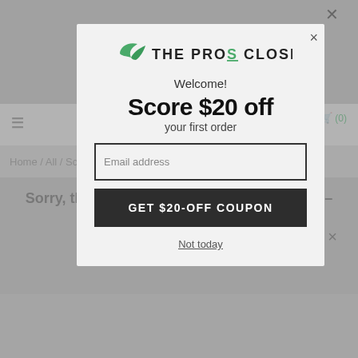[Figure (screenshot): Screenshot of The Pros Closet website with a $20 off popup modal overlay. The background shows the website navigation, breadcrumb (Home / All / Scott), and a sold-out message for Scott Foil Team Issue Road Bike 2015 X-Large. The modal contains the site logo, 'Welcome!', 'Score $20 off', 'your first order', an email address field, a 'GET $20-OFF COUPON' button, and a 'Not today' link.]
Welcome!
Score $20 off
your first order
Email address
GET $20-OFF COUPON
Not today
Sorry, this Scott Foil Team Issue Road Bike – 2015, X-Large has been sold.
Try these similar items:
BIKE FINDER   Find Your Bike
Home / All / Scott